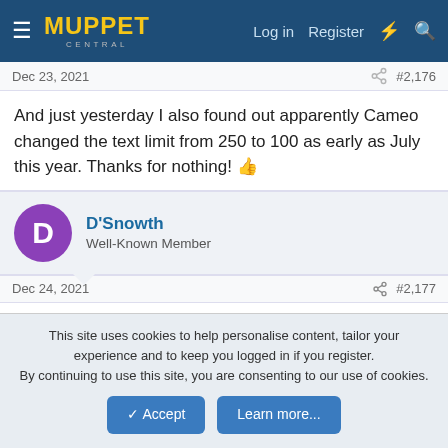Muppet Central — Log in | Register
Dec 23, 2021  #2,176
And just yesterday I also found out apparently Cameo changed the text limit from 250 to 100 as early as July this year. Thanks for nothing! 👍
D'Snowth — Well-Known Member
Dec 24, 2021  #2,177
Oh joy, YouTube is back to recommending Fox News videos on everything again.
This site uses cookies to help personalise content, tailor your experience and to keep you logged in if you register. By continuing to use this site, you are consenting to our use of cookies.